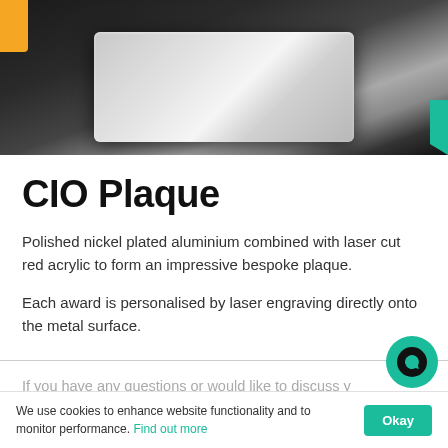[Figure (photo): Photo of a CIO plaque — polished nickel plated aluminium plaque on a dark background with yellow corner accent and teal side accent]
CIO Plaque
Polished nickel plated aluminium combined with laser cut red acrylic to form an impressive bespoke plaque.
Each award is personalised by laser engraving directly onto the metal surface.
If you have any questions or would like to discuss your next event, please email awards@ela.co.uk or 01789 450005 for your FREE award design.
We use cookies to enhance website functionality and to monitor performance. Find out more    Okay